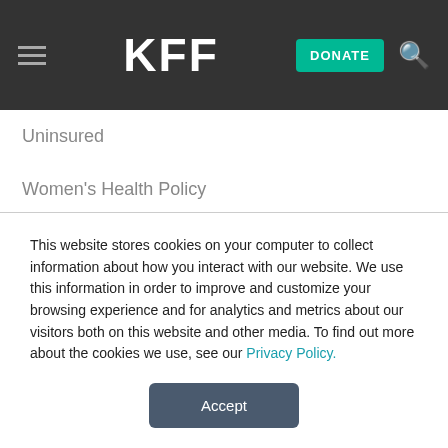KFF — DONATE (navigation header)
Uninsured
Women's Health Policy
SECTIONS
Polling
State Health Facts
Graphics & Interactives
This website stores cookies on your computer to collect information about how you interact with our website. We use this information in order to improve and customize your browsing experience and for analytics and metrics about our visitors both on this website and other media. To find out more about the cookies we use, see our Privacy Policy.
Accept